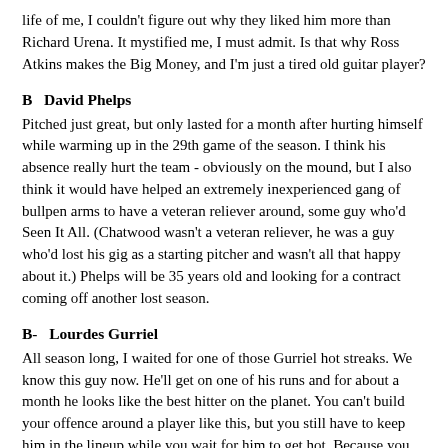life of me, I couldn't figure out why they liked him more than Richard Urena. It mystified me, I must admit. Is that why Ross Atkins makes the Big Money, and I'm just a tired old guitar player?
B   David Phelps
Pitched just great, but only lasted for a month after hurting himself while warming up in the 29th game of the season. I think his absence really hurt the team - obviously on the mound, but I also think it would have helped an extremely inexperienced gang of bullpen arms to have a veteran reliever around, some guy who'd Seen It All. (Chatwood wasn't a veteran reliever, he was a guy who'd lost his gig as a starting pitcher and wasn't all that happy about it.) Phelps will be 35 years old and looking for a contract coming off another lost season.
B-   Lourdes Gurriel
All season long, I waited for one of those Gurriel hot streaks. We know this guy now. He'll get on one of his runs and for about a month he looks like the best hitter on the planet. You can't build your offence around a player like this, but you still have to keep him in the lineup while you wait for him to get hot. Because you don't know when it's going to happen. All you know is that those hot streaks are really worth waiting for. Like July 2018 (.423/.438/.648), or June 2019 (.337/.381/.683 with 10 HRs) or September 2020 (.368/.394/.653). And none of this can truly